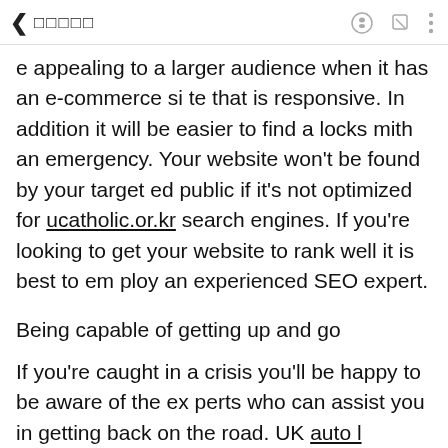◁ □□□□□
e appealing to a larger audience when it has an e-commerce site that is responsive. In addition it will be easier to find a locksmith an emergency. Your website won't be found by your targeted public if it's not optimized for ucatholic.or.kr search engines. If you're looking to get your website to rank well it is best to employ an experienced SEO expert.
Being capable of getting up and go
If you're caught in a crisis you'll be happy to be aware of the experts who can assist you in getting back on the road. UK auto locksmith key fob programming near me Locksmith is a excellent choice if your car is locked out or in need of a fresh battery. Their highly trained technicians have the expertise and experience needed to get you back on the road with no an issue. They are available throughout the UK.